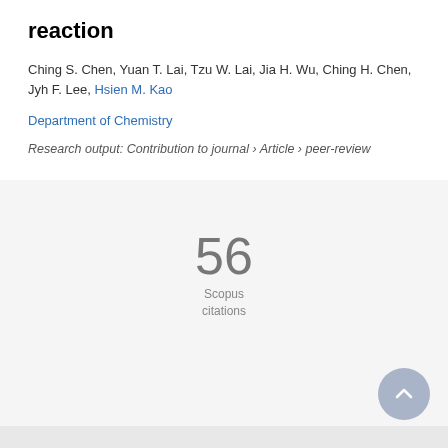reaction
Ching S. Chen, Yuan T. Lai, Tzu W. Lai, Jia H. Wu, Ching H. Chen, Jyh F. Lee, Hsien M. Kao
Department of Chemistry
Research output: Contribution to journal › Article › peer-review
56 Scopus citations